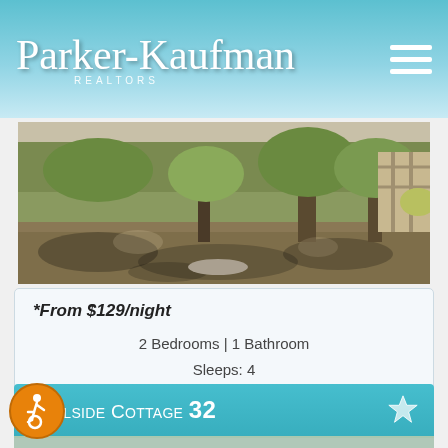Parker-Kaufman REALTORS
[Figure (photo): Outdoor garden/yard area with trees, fence, and sandy ground on Jekyll Island property]
*From $129/night
2 Bedrooms | 1 Bathroom
Sleeps: 4
On Jekyll Island
PINEGROVE
Poolside Cottage 32
[Figure (photo): Poolside cottage porch with white outdoor sofa and chairs, view of trees and balcony railing]